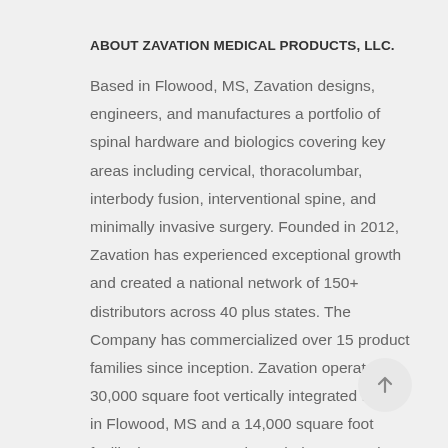ABOUT ZAVATION MEDICAL PRODUCTS, LLC.
Based in Flowood, MS, Zavation designs, engineers, and manufactures a portfolio of spinal hardware and biologics covering key areas including cervical, thoracolumbar, interbody fusion, interventional spine, and minimally invasive surgery. Founded in 2012, Zavation has experienced exceptional growth and created a national network of 150+ distributors across 40 plus states. The Company has commercialized over 15 product families since inception. Zavation operates a 30,000 square foot vertically integrated facility in Flowood, MS and a 14,000 square foot facility in Tampa, FL. Through the PanMed transaction in 2018, the Company acquired a disruptive